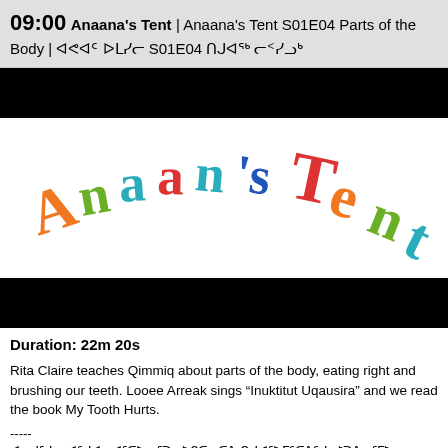09:00 Anaana's Tent | Anaana's Tent S01E04 Parts of the Body | ᐊᕙᐊᑦ ᐅᒪᓯᓕ S01E04 ᑎᒍᐊᖅ ᓕᑉᓯᓗᒃ
[Figure (photo): Black redacted bar at top]
[Figure (logo): Anaana's Tent colorful logo text in arched handwritten style]
[Figure (photo): Black redacted bar at bottom of image area]
Duration: 22m 20s
Rita Claire teaches Qimmiq about parts of the body, eating right and brushing our teeth. Looee Arreak sings “Inuktitut Uqausira” and we read the book My Tooth Hurts.
-----
ᐊᓕᒍᕐᓯᓕ ᐊᑦᓯᐊᓗᐊᕐᑕᐅᓕᕐᑐᓂᒃ ᑭᑕᓕᑕᐱ ᑎᒍᐊᖅ ᒥᑦᑕᕕᑦᓯᓗᒃᑐᕕᓂᕐᒥᒃ